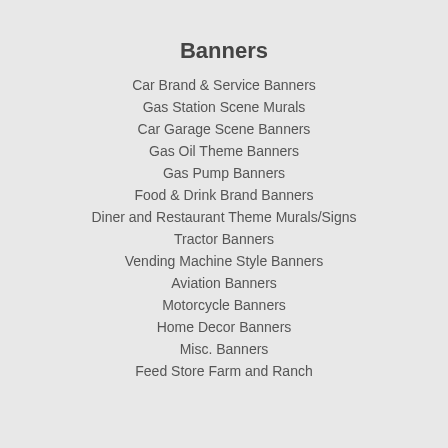Banners
Car Brand & Service Banners
Gas Station Scene Murals
Car Garage Scene Banners
Gas Oil Theme Banners
Gas Pump Banners
Food & Drink Brand Banners
Diner and Restaurant Theme Murals/Signs
Tractor Banners
Vending Machine Style Banners
Aviation Banners
Motorcycle Banners
Home Decor Banners
Misc. Banners
Feed Store Farm and Ranch